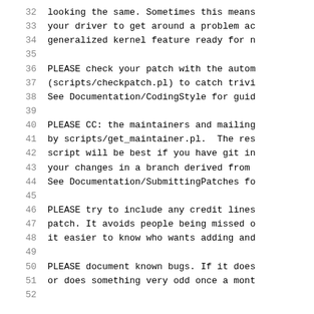32  looking the same. Sometimes this means
33  your driver to get around a problem ac
34  generalized kernel feature ready for n
35
36  PLEASE check your patch with the autom
37  (scripts/checkpatch.pl) to catch trivi
38  See Documentation/CodingStyle for guid
39
40  PLEASE CC: the maintainers and mailing
41  by scripts/get_maintainer.pl.  The res
42  script will be best if you have git in
43  your changes in a branch derived from
44  See Documentation/SubmittingPatches fo
45
46  PLEASE try to include any credit lines
47  patch. It avoids people being missed o
48  it easier to know who wants adding and
49
50  PLEASE document known bugs. If it does
51  or does something very odd once a mont
52